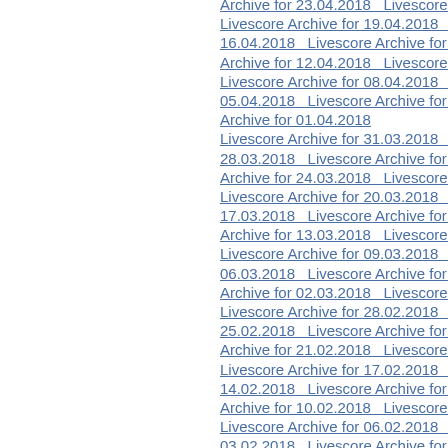Archive for 23.04.2018   Livescore Archive fo
Livescore Archive for 19.04.2018   Livescore
16.04.2018   Livescore Archive for 15.04.201
Archive for 12.04.2018   Livescore Archive fo
Livescore Archive for 08.04.2018   Livescore
05.04.2018   Livescore Archive for 04.04.201
Archive for 01.04.2018
Livescore Archive for 31.03.2018   Livescore
28.03.2018   Livescore Archive for 27.03.201
Archive for 24.03.2018   Livescore Archive fo
Livescore Archive for 20.03.2018   Livescore
17.03.2018   Livescore Archive for 16.03.201
Archive for 13.03.2018   Livescore Archive fo
Livescore Archive for 09.03.2018   Livescore
06.03.2018   Livescore Archive for 05.03.201
Archive for 02.03.2018   Livescore Archive for
Livescore Archive for 28.02.2018   Livescore
25.02.2018   Livescore Archive for 24.02.201
Archive for 21.02.2018   Livescore Archive fo
Livescore Archive for 17.02.2018   Livescore
14.02.2018   Livescore Archive for 13.02.201
Archive for 10.02.2018   Livescore Archive fo
Livescore Archive for 06.02.2018   Livescore
03.02.2018   Livescore Archive for 02.02.2018
Livescore Archive for 31.01.2018   Livescore
28.01.2018   Livescore Archive for 27.01.201